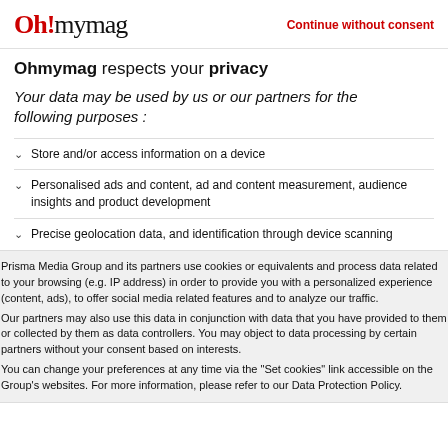Ohmymag | Continue without consent
Ohmymag respects your privacy
Your data may be used by us or our partners for the following purposes :
Store and/or access information on a device
Personalised ads and content, ad and content measurement, audience insights and product development
Precise geolocation data, and identification through device scanning
Prisma Media Group and its partners use cookies or equivalents and process data related to your browsing (e.g. IP address) in order to provide you with a personalized experience (content, ads), to offer social media related features and to analyze our traffic. Our partners may also use this data in conjunction with data that you have provided to them or collected by them as data controllers. You may object to data processing by certain partners without your consent based on interests. You can change your preferences at any time via the "Set cookies" link accessible on the Group's websites. For more information, please refer to our Data Protection Policy.